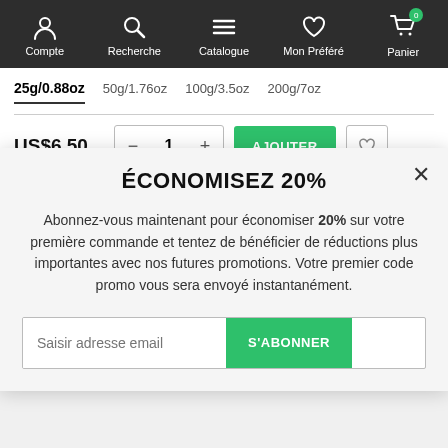[Figure (screenshot): Navigation bar with icons for Compte, Recherche, Catalogue, Mon Préféré, Panier on dark background]
25g/0.88oz   50g/1.76oz   100g/3.5oz   200g/7oz
US$6.50
AJOUTER
ÉCONOMISEZ 20%
Abonnez-vous maintenant pour économiser 20% sur votre première commande et tentez de bénéficier de réductions plus importantes avec nos futures promotions. Votre premier code promo vous sera envoyé instantanément.
Saisir adresse email
S'ABONNER